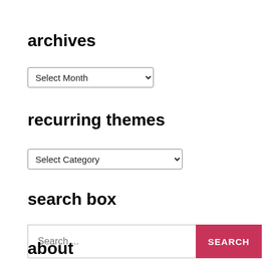archives
Select Month
recurring themes
Select Category
search box
Search ...
SEARCH
about